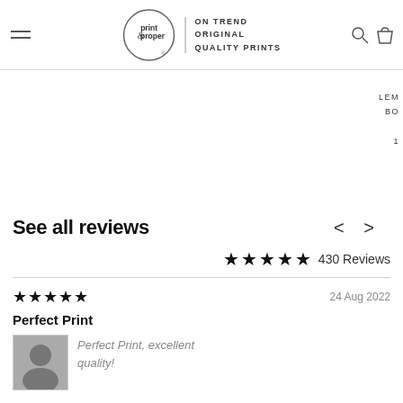print & proper — ON TREND ORIGINAL QUALITY PRINTS
LEM
BO
1
See all reviews
★★★★★ 430 Reviews
★★★★★  24 Aug 2022
Perfect Print
Perfect Print, excellent quality!